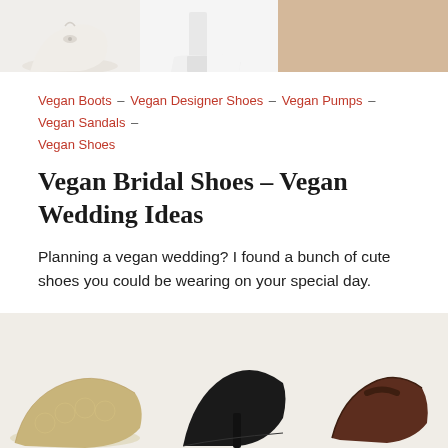[Figure (photo): Three shoe photos at the top: left shows a cream/ivory peep-toe heel with bow detail, center shows a white platform high heel, right shows a beige/nude background cropped shoe image.]
Vegan Boots – Vegan Designer Shoes – Vegan Pumps – Vegan Sandals – Vegan Shoes
Vegan Bridal Shoes – Vegan Wedding Ideas
Planning a vegan wedding? I found a bunch of cute shoes you could be wearing on your special day.
by VeganShoeAddict  -  March 15, 2018
[Figure (photo): Three shoes displayed on a light beige background: left is a gold/champagne lace flat, center is a black pointed kitten heel, right is a dark brown/burgundy Mary Jane flat.]